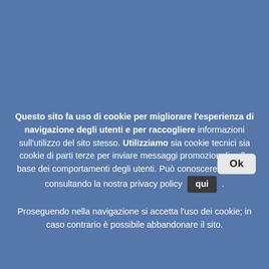Questo sito fa uso di cookie per migliorare l'esperienza di navigazione degli utenti e per raccogliere informazioni sull'utilizzo del sito stesso. Utilizziamo sia cookie tecnici sia cookie di parti terze per inviare messaggi promozionali sulla base dei comportamenti degli utenti. Può conoscere i dettagli consultando la nostra privacy policy qui . Proseguendo nella navigazione si accetta l'uso dei cookie; in caso contrario è possibile abbandonare il sito.
[Figure (screenshot): E.P.B. Eredi di Piazza Bianca Catania circular logo with red and blue colors]
VITONE ZAZZERI CERAMICO A 180° ART...
€ 25.20